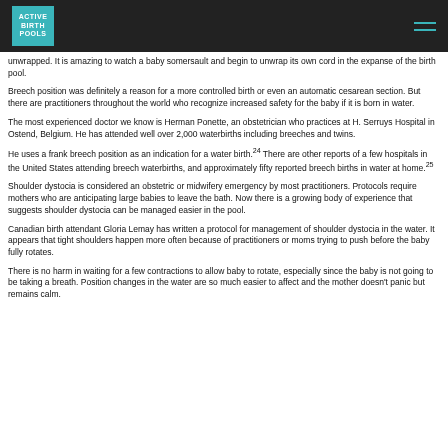Active Birth Pools
unwrapped. It is amazing to watch a baby somersault and begin to unwrap its own cord in the expanse of the birth pool.
Breech position was definitely a reason for a more controlled birth or even an automatic cesarean section. But there are practitioners throughout the world who recognize increased safety for the baby if it is born in water.
The most experienced doctor we know is Herman Ponette, an obstetrician who practices at H. Serruys Hospital in Ostend, Belgium. He has attended well over 2,000 waterbirths including breeches and twins.
He uses a frank breech position as an indication for a water birth.24 There are other reports of a few hospitals in the United States attending breech waterbirths, and approximately fifty reported breech births in water at home.25
Shoulder dystocia is considered an obstetric or midwifery emergency by most practitioners. Protocols require mothers who are anticipating large babies to leave the bath. Now there is a growing body of experience that suggests shoulder dystocia can be managed easier in the pool.
Canadian birth attendant Gloria Lemay has written a protocol for management of shoulder dystocia in the water. It appears that tight shoulders happen more often because of practitioners or moms trying to push before the baby fully rotates.
There is no harm in waiting for a few contractions to allow baby to rotate, especially since the baby is not going to be taking a breath. Position changes in the water are so much easier to affect and the mother doesn't panic but remains calm.